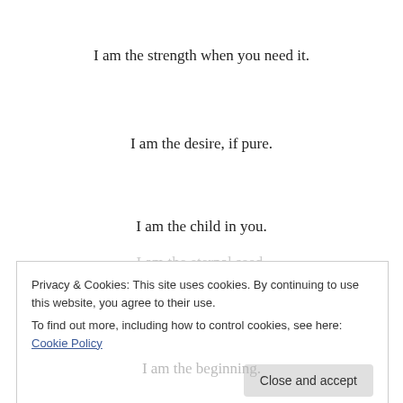I am the strength when you need it.
I am the desire, if pure.
I am the child in you.
I am the universe.
I am that pillar on which the universe thrives.
I am the womb.
I am the eternal seed.
I am the beginning.
Privacy & Cookies: This site uses cookies. By continuing to use this website, you agree to their use.
To find out more, including how to control cookies, see here: Cookie Policy
Close and accept